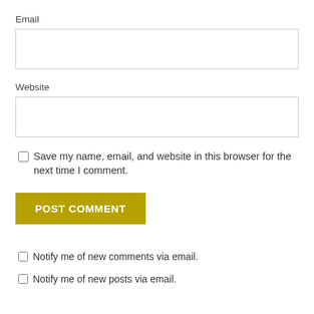Email
Website
Save my name, email, and website in this browser for the next time I comment.
POST COMMENT
Notify me of new comments via email.
Notify me of new posts via email.